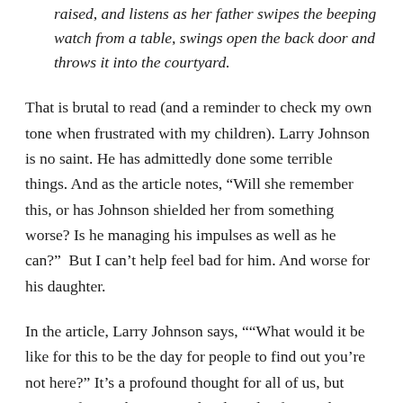raised, and listens as her father swipes the beeping watch from a table, swings open the back door and throws it into the courtyard.
That is brutal to read (and a reminder to check my own tone when frustrated with my children). Larry Johnson is no saint. He has admittedly done some terrible things. And as the article notes, “Will she remember this, or has Johnson shielded her from something worse? Is he managing his impulses as well as he can?”  But I can’t help feel bad for him. And worse for his daughter.
In the article, Larry Johnson says, ““What would it be like for this to be the day for people to find out you’re not here?” It’s a profound thought for all of us, but coming from Johnson it is deeply sad. After reading this article I can’t help but think of him as a ticking time bomb, and this